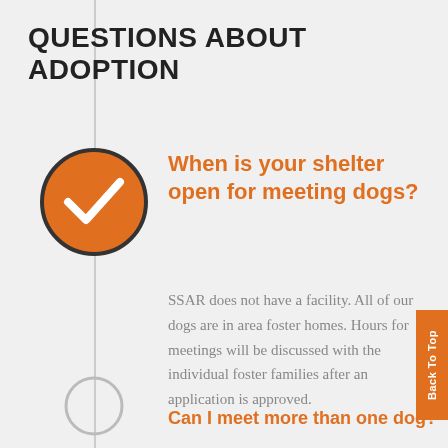QUESTIONS ABOUT ADOPTION
When is your shelter open for meeting dogs?
SSAR does not have a facility. All of our dogs are in area foster homes. Hours for meetings will be discussed with the individual foster families after an application is approved.
Can I meet more than one dog?